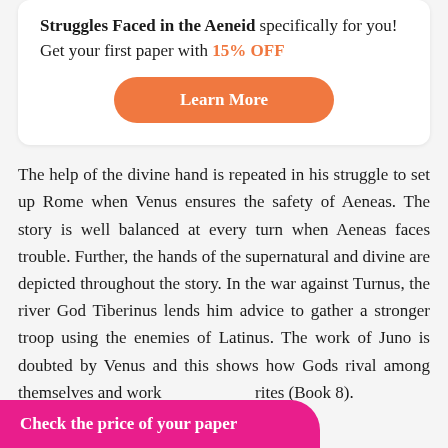Struggles Faced in the Aeneid specifically for you! Get your first paper with 15% OFF
[Figure (other): Orange rounded button labeled 'Learn More']
The help of the divine hand is repeated in his struggle to set up Rome when Venus ensures the safety of Aeneas. The story is well balanced at every turn when Aeneas faces trouble. Further, the hands of the supernatural and divine are depicted throughout the story. In the war against Turnus, the river God Tiberinus lends him advice to gather a stronger troop using the enemies of Latinus. The work of Juno is doubted by Venus and this shows how Gods rival among themselves and work rites (Book 8).
Check the price of your paper